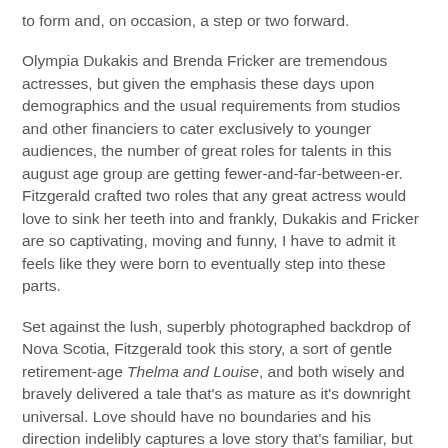to form and, on occasion, a step or two forward.
Olympia Dukakis and Brenda Fricker are tremendous actresses, but given the emphasis these days upon demographics and the usual requirements from studios and other financiers to cater exclusively to younger audiences, the number of great roles for talents in this august age group are getting fewer-and-far-between-er. Fitzgerald crafted two roles that any great actress would love to sink her teeth into and frankly, Dukakis and Fricker are so captivating, moving and funny, I have to admit it feels like they were born to eventually step into these parts.
Set against the lush, superbly photographed backdrop of Nova Scotia, Fitzgerald took this story, a sort of gentle retirement-age Thelma and Louise, and both wisely and bravely delivered a tale that's as mature as it's downright universal. Love should have no boundaries and his direction indelibly captures a love story that's familiar, but bolstered by such genuine compassion, that I frankly can't imagine any audience not succumbing to it's considerable charms.